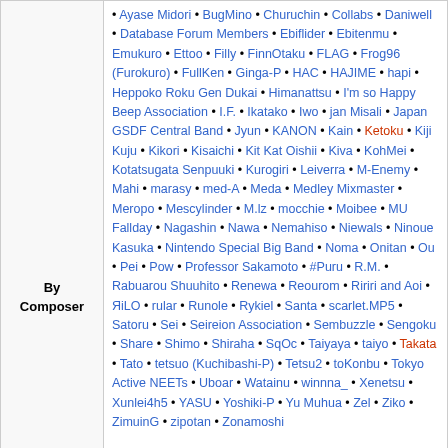| Category | Content |
| --- | --- |
| By Composer | Ayase Midori • BugMino • Churuchin • Collabs • Daniwell • Database Forum Members • Ebiflider • Ebitenmu • Emukuro • Ettoo • Filly • FinnOtaku • FLAG • Frog96 (Furokuro) • FullKen • Ginga-P • HAC • HAJIME • hapi • Heppoko Roku Gen Dukai • Himanattsu • I'm so Happy Beep Association • I.F. • Ikatako • Iwo • jan Misali • Japan GSDF Central Band • Jyun • KANON • Kain • Ketoku • Kiji Kuju • Kikori • Kisaichi • Kit Kat Oishii • Kiva • KohMei • Kotatsugata Senpuuki • Kurogiri • Leiverra • M-Enemy • Mahi • marasy • med-A • Meda • Medley Mixmaster • Meropo • Mescylinder • M.lz • mocchie • Moibee • MU Fallday • Nagashin • Nawa • Nemahiso • Niewals • Ninoue Kasuka • Nintendo Special Big Band • Noma • Onitan • Ou • Pei • Pow • Professor Sakamoto • #Puru • R.M. • Rabuarou Shuuhito • Renewa • Reourom • Ririri and Aoi • ЯiLO • rular • Runole • Rykiel • Santa • scarlet.MP5 • Satoru • Sei • Seireion Association • Sembuzzle • Sengoku • Share • Shimo • Shiraha • SqOc • Taiyaya • taiyo • Takata • Tato • tetsuo (Kuchibashi-P) • Tetsu2 • toKonbu • Tokyo Active NEETs • Uboar • Watainu • winnna_ • Xenetsu • Xunlei4h5 • YASU • Yoshiki-P • Yu Muhua • Zel • Ziko • ZimuinG • zipotan • Zonamoshi |
| By Year | 2007 • 2008 • 2009 • 2010 • 2011 • 2012 • 2013 • 2014 • 2015 • 2016 • 2017 • 2018 • 2019 • 2020 • 2021 • 2022 |
|  | AcFun • Animal Crossing • Beatmania • Bilibili • Castlevania • Cave Story • Chargeman Ken! • Cookie☆ • Futao no Kiwami • Gashimuchi |